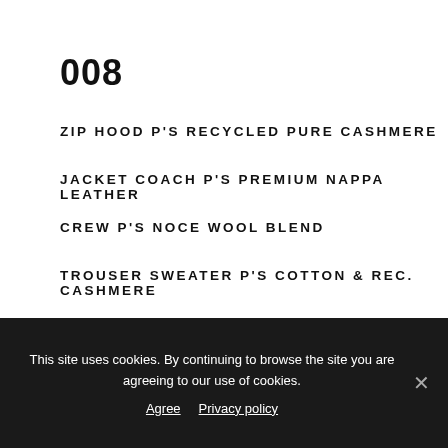008
ZIP HOOD P'S RECYCLED PURE CASHMERE
JACKET COACH P'S PREMIUM NAPPA LEATHER
CREW P'S NOCE WOOL BLEND
TROUSER SWEATER P'S COTTON & REC. CASHMERE
This site uses cookies. By continuing to browse the site you are agreeing to our use of cookies. Agree  Privacy policy